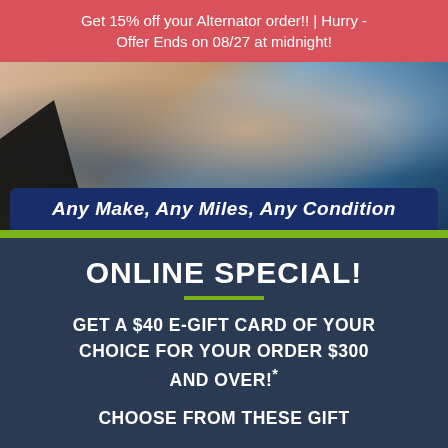Get 15% off your Alternator order!! | Hurry - Offer Ends on 08/27 at midnight!
[Figure (photo): Close-up photo of a person's hand working on a car engine, with dark mechanical parts and blue vehicle body visible. A dark blue panel overlay reads 'Any Make, Any Miles, Any Condition'.]
ONLINE SPECIAL!
GET A $40 E-GIFT CARD OF YOUR CHOICE FOR YOUR ORDER $300 AND OVER!*
CHOOSE FROM THESE GIFT